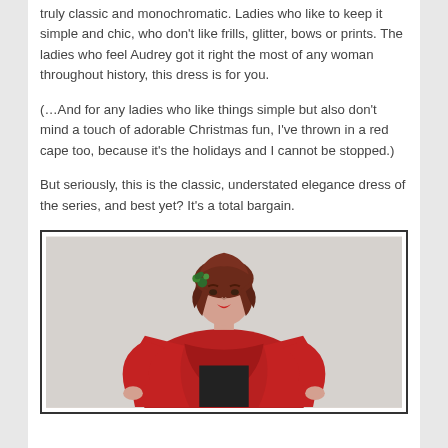truly classic and monochromatic. Ladies who like to keep it simple and chic, who don't like frills, glitter, bows or prints. The ladies who feel Audrey got it right the most of any woman throughout history, this dress is for you.
(…And for any ladies who like things simple but also don't mind a touch of adorable Christmas fun, I've thrown in a red cape too, because it's the holidays and I cannot be stopped.)
But seriously, this is the classic, understated elegance dress of the series, and best yet? It's a total bargain.
[Figure (photo): A woman with red hair wearing a red cape/jacket over a black dress, with a floral hair accessory, photographed against a light grey background.]